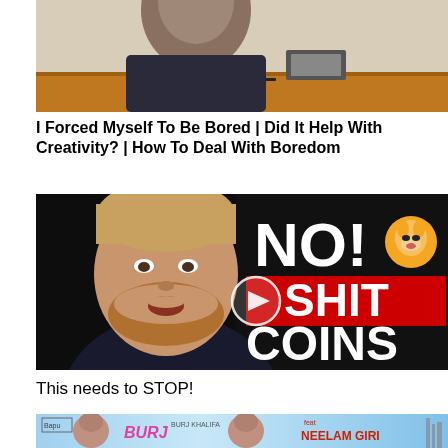[Figure (screenshot): Video thumbnail showing a person sitting at a wooden desk, top portion cropped]
I Forced Myself To Be Bored | Did It Help With Creativity? | How To Deal With Boredom
[Figure (screenshot): YouTube video thumbnail showing a bearded man with text NO! SHITCOINS and a Shiba Inu dog emoji, with play button overlay]
This needs to STOP!
[Figure (screenshot): Partial video thumbnail showing Burj title card with NEELAM GIRI text and Burj Khalifa reference]